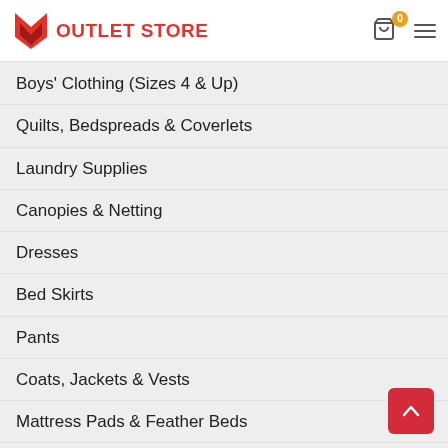OUTLET STORE
Boys' Clothing (Sizes 4 & Up)
Quilts, Bedspreads & Coverlets
Laundry Supplies
Canopies & Netting
Dresses
Bed Skirts
Pants
Coats, Jackets & Vests
Mattress Pads & Feather Beds
Skirts
Girls' Clothing (Sizes 4 & Up)
Sheets
Pillowcases